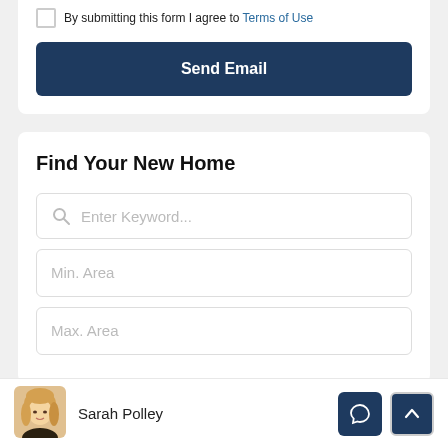By submitting this form I agree to Terms of Use
Send Email
Find Your New Home
Enter Keyword...
Min. Area
Max. Area
Sarah Polley